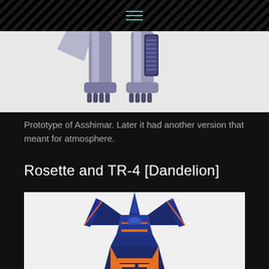[Figure (photo): Close-up photo of legs/feet of the Asshimar prototype robot/mecha unit, showing metallic grey leg parts against a white background]
Prototype of Asshimar. Later it had another version that meant for atmosphere.
Rosette and TR-4 [Dandelion]
[Figure (photo): Photo of a dark navy blue and orange mecha/robot unit called TR-4 Dandelion, showing the top portion with a pointed forward-swept wing or fin design against a white background]